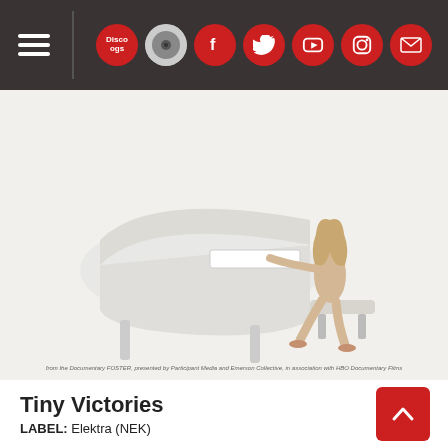Navigation bar with hamburger menu and social icons: Discogs, album, Facebook, Twitter, YouTube, Instagram, Mail
[Figure (photo): Woman with long blonde hair dressed in white, seated at a white grand piano on a white background, playing. Small italic caption at bottom reads: from the Documentary FOSTER, presented by Participant Media and Emerson Collective, in association with HBO Documentary Films]
from the Documentary FOSTER, presented by Participant Media and Emerson Collective, in association with HBO Documentary Films
Tiny Victories
LABEL: Elektra (NEK)